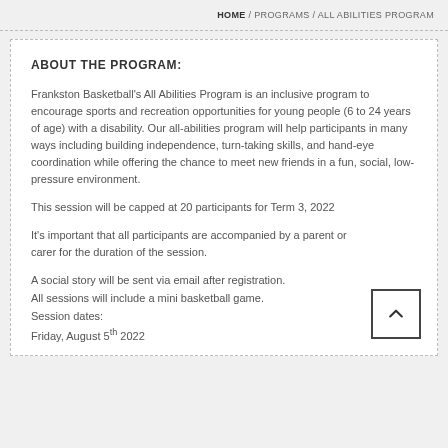HOME / PROGRAMS / ALL ABILITIES PROGRAM
ABOUT THE PROGRAM:
Frankston Basketball's All Abilities Program is an inclusive program to encourage sports and recreation opportunities for young people (6 to 24 years of age) with a disability. Our all-abilities program will help participants in many ways including building independence, turn-taking skills, and hand-eye coordination while offering the chance to meet new friends in a fun, social, low-pressure environment.
This session will be capped at 20 participants for Term 3, 2022
It's important that all participants are accompanied by a parent or carer for the duration of the session.
A social story will be sent via email after registration.
All sessions will include a mini basketball game.
Session dates:
Friday, August 5th 2022